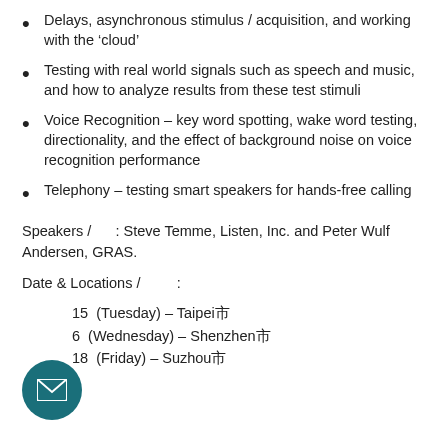Delays, asynchronous stimulus / acquisition, and working with the 'cloud'
Testing with real world signals such as speech and music, and how to analyze results from these test stimuli
Voice Recognition – key word spotting, wake word testing, directionality, and the effect of background noise on voice recognition performance
Telephony – testing smart speakers for hands-free calling
Speakers /      : Steve Temme, Listen, Inc. and Peter Wulf Andersen, GRAS.
Date & Locations /          :
15  (Tuesday) – Taipei市
6  (Wednesday) – Shenzhen市
18  (Friday) – Suzhou市